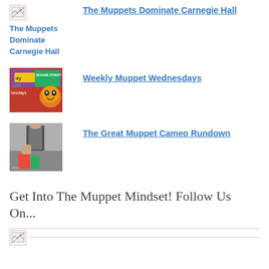[Figure (photo): Broken image thumbnail for The Muppets Dominate Carnegie Hall article]
The Muppets Dominate Carnegie Hall
The Muppets Dominate Carnegie Hall
[Figure (photo): Colorful Sesame Street / Weekly Muppet Wednesdays thumbnail image]
Weekly Muppet Wednesdays
[Figure (photo): Photo thumbnail for The Great Muppet Cameo Rundown article]
The Great Muppet Cameo Rundown
Get Into The Muppet Mindset! Follow Us On...
[Figure (photo): Broken image icon with horizontal rule divider]